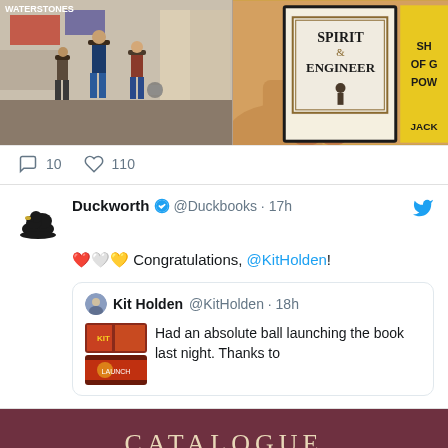[Figure (screenshot): Two photos side by side: left shows people in a bookshop, right shows a book cover with 'Spirit Engineer' text and yellow background]
10  110
[Figure (screenshot): Tweet from Duckworth @Duckbooks 17h: heart emojis Congratulations, @KitHolden! with a quoted tweet from Kit Holden @KitHolden 18h: Had an absolute ball launching the book last night. Thanks to]
CATALOGUE
[Figure (screenshot): Bottom of page showing start of a catalogue card with dark green background]